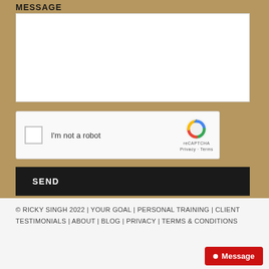MESSAGE
[Figure (screenshot): White textarea input box for message entry]
[Figure (screenshot): reCAPTCHA widget with checkbox labeled 'I'm not a robot' and Google reCAPTCHA logo with Privacy and Terms links]
SEND
© RICKY SINGH 2022 | YOUR GOAL | PERSONAL TRAINING | CLIENT TESTIMONIALS | ABOUT | BLOG | PRIVACY | TERMS & CONDITIONS
[Figure (screenshot): Red Message button in bottom right corner]